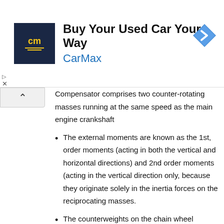[Figure (other): CarMax advertisement banner with logo, headline 'Buy Your Used Car Your Way', brand name 'CarMax', and a navigation arrow icon]
Compensator comprises two counter-rotating masses running at the same speed as the main engine crankshaft
The external moments are known as the 1st, order moments (acting in both the vertical and horizontal directions) and 2nd order moments (acting in the vertical direction only, because they originate solely in the inertia forces on the reciprocating masses.
The counterweights on the chain wheel produce a centrifugal force which creates a moment, the size of which is found by multiplying the force by the distance to the node.